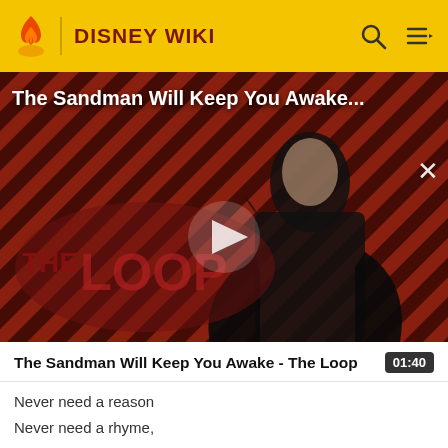DISNEY WIKI
[Figure (screenshot): Video thumbnail showing a dark-cloaked figure against a red diagonal stripe background with 'THE LOOP' watermark and a play button overlay. Title reads 'The Sandman Will Keep You Awake...' with a close (×) button.]
The Sandman Will Keep You Awake - The Loop
01:40
Never need a reason
Never need a rhyme,
Over the rooftops step in time